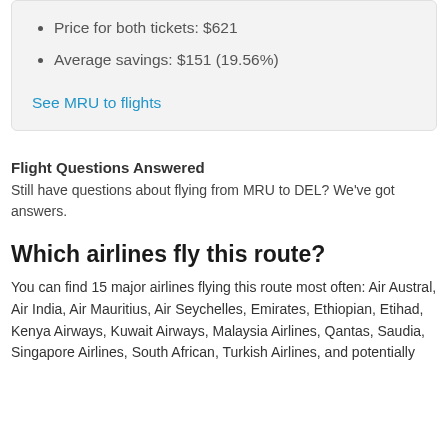Price for both tickets: $621
Average savings: $151 (19.56%)
See MRU to flights
Flight Questions Answered
Still have questions about flying from MRU to DEL? We've got answers.
Which airlines fly this route?
You can find 15 major airlines flying this route most often: Air Austral, Air India, Air Mauritius, Air Seychelles, Emirates, Ethiopian, Etihad, Kenya Airways, Kuwait Airways, Malaysia Airlines, Qantas, Saudia, Singapore Airlines, South African, Turkish Airlines, and potentially